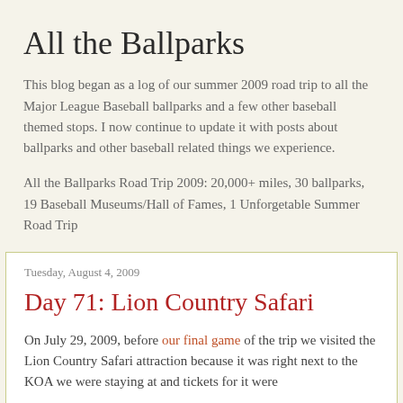All the Ballparks
This blog began as a log of our summer 2009 road trip to all the Major League Baseball ballparks and a few other baseball themed stops. I now continue to update it with posts about ballparks and other baseball related things we experience.
All the Ballparks Road Trip 2009: 20,000+ miles, 30 ballparks, 19 Baseball Museums/Hall of Fames, 1 Unforgetable Summer Road Trip
Tuesday, August 4, 2009
Day 71: Lion Country Safari
On July 29, 2009, before our final game of the trip we visited the Lion Country Safari attraction because it was right next to the KOA we were staying at and tickets for it were